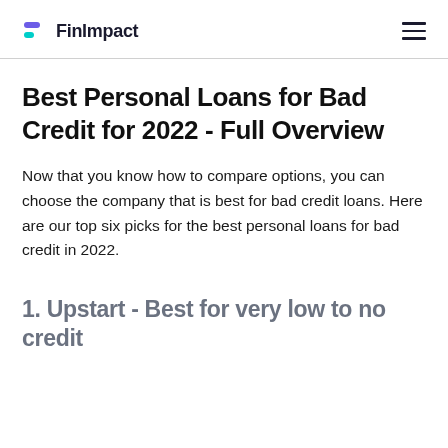FinImpact
Best Personal Loans for Bad Credit for 2022 - Full Overview
Now that you know how to compare options, you can choose the company that is best for bad credit loans. Here are our top six picks for the best personal loans for bad credit in 2022.
1. Upstart - Best for very low to no credit